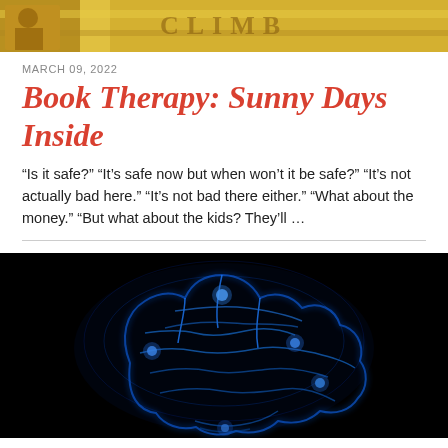[Figure (photo): Cropped top portion of a book or magazine cover with yellow/golden illustrated artwork, partially visible text]
MARCH 09, 2022
Book Therapy: Sunny Days Inside
“Is it safe?” “It’s safe now but when won’t it be safe?” “It’s not actually bad here.” “It’s not bad there either.” “What about the money.” “But what about the kids? They’ll …
[Figure (photo): Digital illustration of a glowing blue brain on a black background with luminous blue neural connection highlights]